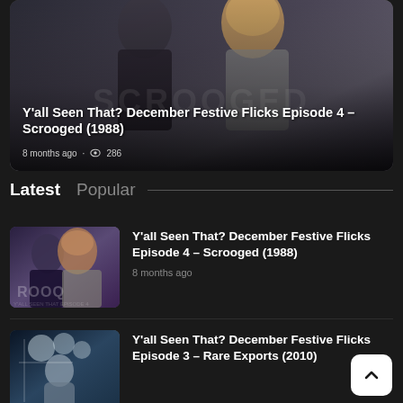[Figure (photo): Hero banner image showing two people from Scrooged (1988) movie, with SCROOGED text watermark overlay. Title and metadata overlaid on the image.]
Y'all Seen That? December Festive Flicks Episode 4 – Scrooged (1988)
8 months ago · 286
Latest   Popular
[Figure (photo): Thumbnail image for Scrooged (1988) episode showing two people with ROOQ text visible]
Y'all Seen That? December Festive Flicks Episode 4 – Scrooged (1988)
8 months ago
[Figure (photo): Thumbnail image for Rare Exports (2010) episode]
Y'all Seen That? December Festive Flicks Episode 3 – Rare Exports (2010)